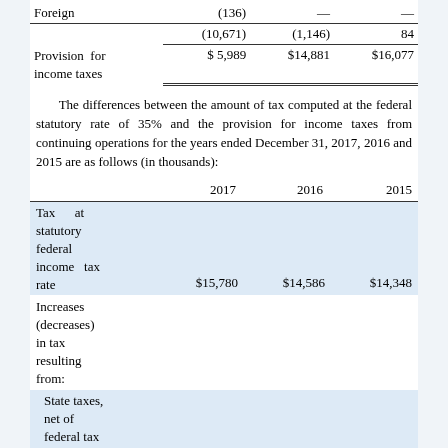|  | 2017 | 2016 | 2015 |
| --- | --- | --- | --- |
| Foreign | (136) | — | — |
|  | (10,671) | (1,146) | 84 |
| Provision for income taxes | $ 5,989 | $14,881 | $16,077 |
The differences between the amount of tax computed at the federal statutory rate of 35% and the provision for income taxes from continuing operations for the years ended December 31, 2017, 2016 and 2015 are as follows (in thousands):
|  | 2017 | 2016 | 2015 |
| --- | --- | --- | --- |
| Tax at statutory federal income tax rate | $15,780 | $14,586 | $14,348 |
| Increases (decreases) in tax resulting from: |  |  |  |
| State taxes, net of federal tax |  |  |  |